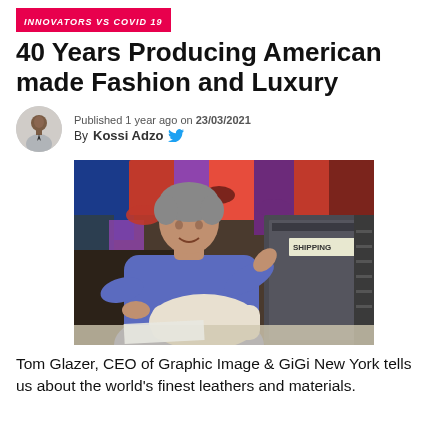INNOVATORS VS COVID 19
40 Years Producing American made Fashion and Luxury
Published 1 year ago on 23/03/2021
By Kossi Adzo
[Figure (photo): Man in blue sweater working on a leather bag in a workshop, with colorful textiles in the background and a shipping box visible]
Tom Glazer, CEO of Graphic Image & GiGi New York tells us about the world's finest leathers and materials.